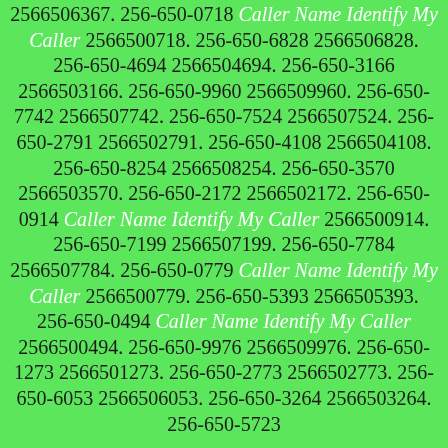2566506367. 256-650-0718 Caller Name Identify My Caller 2566500718. 256-650-6828 2566506828. 256-650-4694 2566504694. 256-650-3166 2566503166. 256-650-9960 2566509960. 256-650-7742 2566507742. 256-650-7524 2566507524. 256-650-2791 2566502791. 256-650-4108 2566504108. 256-650-8254 2566508254. 256-650-3570 2566503570. 256-650-2172 2566502172. 256-650-0914 Caller Name Identify My Caller 2566500914. 256-650-7199 2566507199. 256-650-7784 2566507784. 256-650-0779 Caller Name Identify My Caller 2566500779. 256-650-5393 2566505393. 256-650-0494 Caller Name Identify My Caller 2566500494. 256-650-9976 2566509976. 256-650-1273 2566501273. 256-650-2773 2566502773. 256-650-6053 2566506053. 256-650-3264 2566503264. 256-650-5723